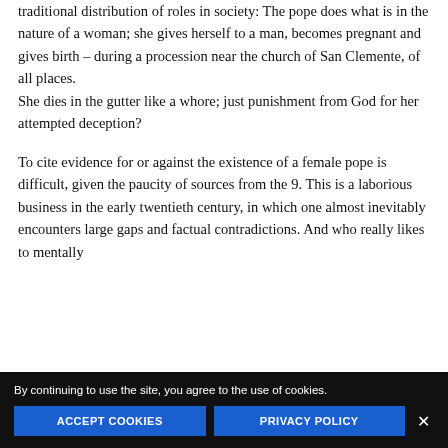traditional distribution of roles in society: The pope does what is in the nature of a woman; she gives herself to a man, becomes pregnant and gives birth – during a procession near the church of San Clemente, of all places.
She dies in the gutter like a whore; just punishment from God for her attempted deception?
To cite evidence for or against the existence of a female pope is difficult, given the paucity of sources from the 9. This is a laborious business in the early twentieth century, in which one almost inevitably encounters large gaps and factual contradictions. And who really likes to mentally
By continuing to use the site, you agree to the use of cookies.